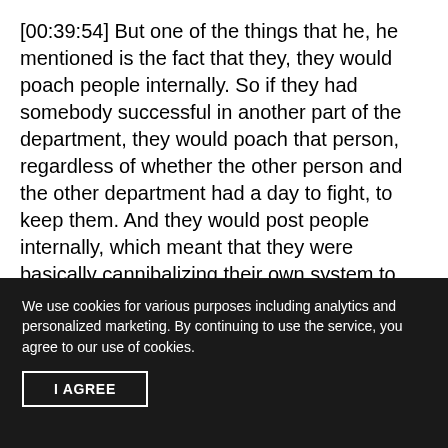[00:39:54] But one of the things that he, he mentioned is the fact that they, they would poach people internally. So if they had somebody successful in another part of the department, they would poach that person, regardless of whether the other person and the other department had a day to fight, to keep them. And they would post people internally, which meant that they were basically cannibalizing their own system to, to, to get for search for self
We use cookies for various purposes including analytics and personalized marketing. By continuing to use the service, you agree to our use of cookies.
I AGREE